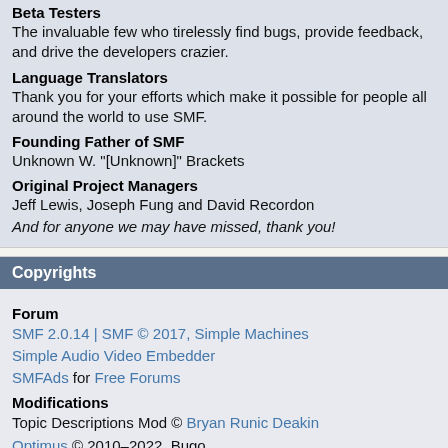Beta Testers
The invaluable few who tirelessly find bugs, provide feedback, and drive the developers crazier.
Language Translators
Thank you for your efforts which make it possible for people all around the world to use SMF.
Founding Father of SMF
Unknown W. "[Unknown]" Brackets
Original Project Managers
Jeff Lewis, Joseph Fung and David Recordon
And for anyone we may have missed, thank you!
Copyrights
Forum
SMF 2.0.14 | SMF © 2017, Simple Machines
Simple Audio Video Embedder
SMFAds for Free Forums
Modifications
Topic Descriptions Mod © Bryan Runic Deakin
Optimus © 2010–2022, Bugo